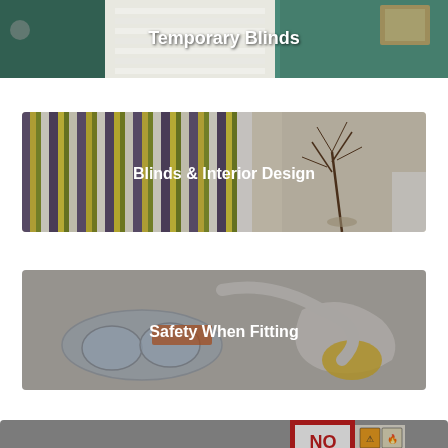[Figure (photo): Image of a room with white cellular/pleated blinds in a teal/green room, text overlay: Temporary Blinds]
[Figure (photo): Image of striped vertical blinds in purple/yellow/green tones with a vase of branches in background, text overlay: Blinds & Interior Design]
[Figure (photo): Close-up image of safety goggles, glue/adhesive materials on a surface, text overlay: Safety When Fitting]
[Figure (photo): Image showing NO NONSENSE mitre glue product with hazard symbols, text overlay: Mitre Glue for Joins]